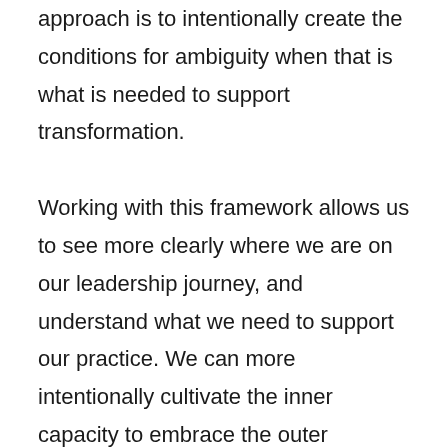approach is to intentionally create the conditions for ambiguity when that is what is needed to support transformation.

Working with this framework allows us to see more clearly where we are on our leadership journey, and understand what we need to support our practice. We can more intentionally cultivate the inner capacity to embrace the outer complexity that defines today's leadership environment. We can then draw on the action logics that will serve the current